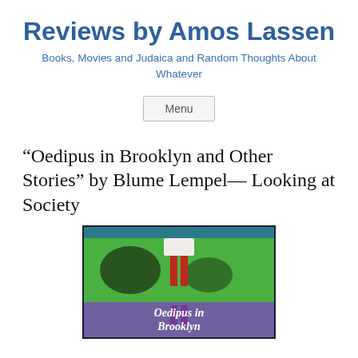Reviews by Amos Lassen
Books, Movies and Judaica and Random Thoughts About Whatever
Menu
“Oedipus in Brooklyn and Other Stories” by Blume Lempel— Looking at Society
[Figure (photo): Book cover of 'Oedipus in Brooklyn' by Blume Lempel, showing legs in red stockings reflected in water against a green background, with the title text at the bottom in white italic font.]